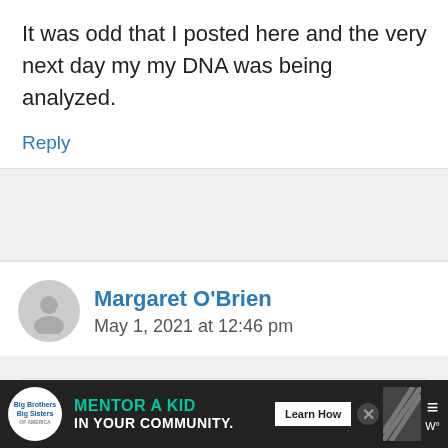It was odd that I posted here and the very next day my my DNA was being analyzed.
Reply
Margaret O'Brien
May 1, 2021 at 12:46 pm
Delighted they came through for you!
[Figure (screenshot): Advertisement bar: Big Brothers Big Sisters logo, 'MENTOR A KID IN YOUR COMMUNITY.' with Learn How button]